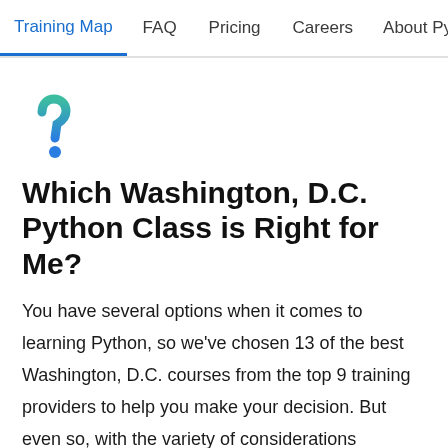Training Map  FAQ  Pricing  Careers  About Python
[Figure (illustration): A stylized teal/green question mark icon logo]
Which Washington, D.C. Python Class is Right for Me?
You have several options when it comes to learning Python, so we've chosen 13 of the best Washington, D.C. courses from the top 9 training providers to help you make your decision. But even so, with the variety of considerations including cost, duration, course format, starting level, and